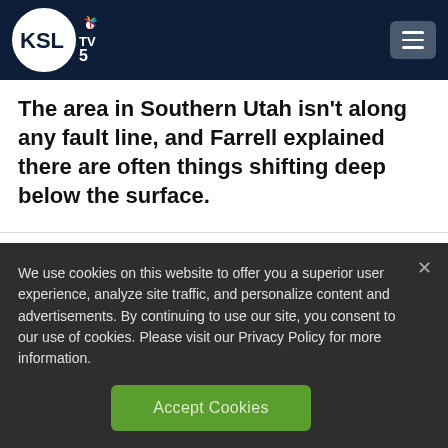KSL TV 5
The area in Southern Utah isn't along any fault line, and Farrell explained there are often things shifting deep below the surface.
We use cookies on this website to offer you a superior user experience, analyze site traffic, and personalize content and advertisements. By continuing to use our site, you consent to our use of cookies. Please visit our Privacy Policy for more information.